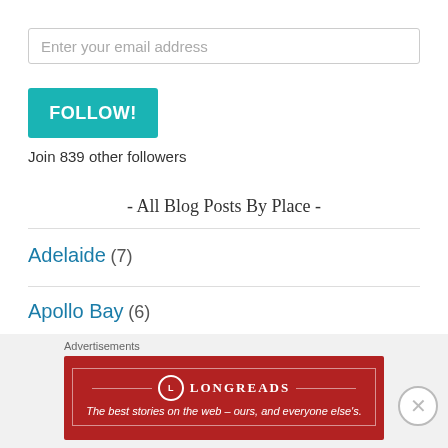Enter your email address
FOLLOW!
Join 839 other followers
- All Blog Posts By Place -
Adelaide (7)
Apollo Bay (6)
Auckland (370)
Advertisements
[Figure (other): Longreads advertisement banner: red background with logo and tagline 'The best stories on the web – ours, and everyone else's.']